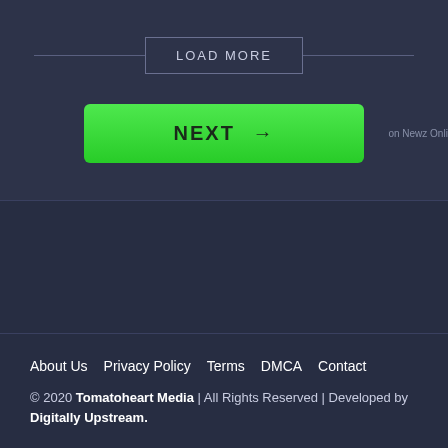[Figure (screenshot): LOAD MORE button with horizontal lines on either side]
[Figure (screenshot): Green NEXT → button with 'on Newz Online' text to the right]
About Us   Privacy Policy   Terms   DMCA   Contact
© 2020 Tomatoheart Media | All Rights Reserved | Developed by Digitally Upstream.